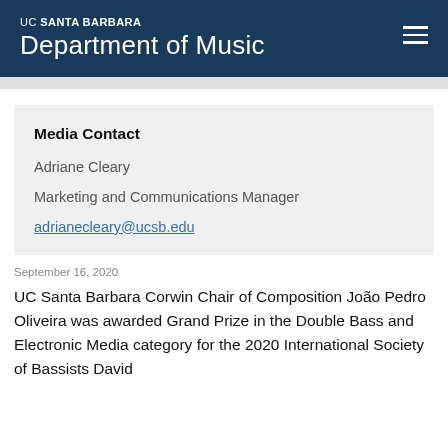UC SANTA BARBARA Department of Music
Media Contact
Adriane Cleary
Marketing and Communications Manager
adrianecleary@ucsb.edu
September 16, 2020
UC Santa Barbara Corwin Chair of Composition João Pedro Oliveira was awarded Grand Prize in the Double Bass and Electronic Media category for the 2020 International Society of Bassists David